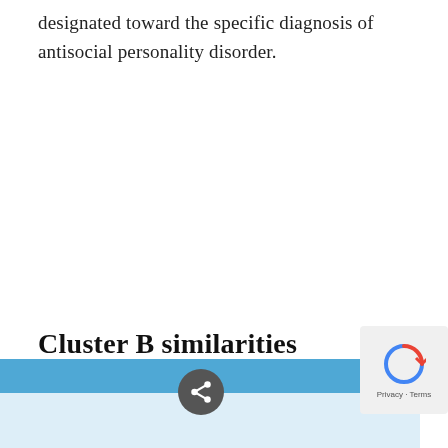designated toward the specific diagnosis of antisocial personality disorder.
Cluster B similarities